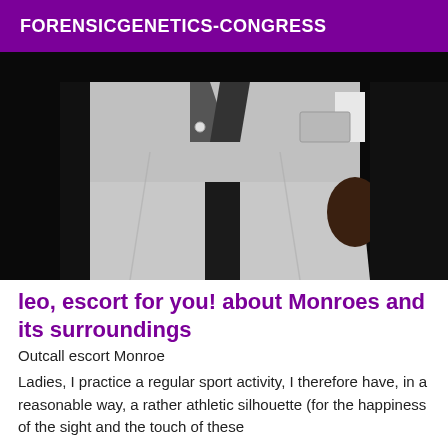FORENSICGENETICS-CONGRESS
[Figure (photo): A person wearing a light grey suit standing against a dark/black background, photo cropped from mid-torso to below knees.]
leo, escort for you! about Monroes and its surroundings
Outcall escort Monroe
Ladies, I practice a regular sport activity, I therefore have, in a reasonable way, a rather athletic silhouette (for the happiness of the sight and the touch of these